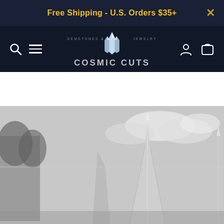Free Shipping - U.S. Orders $35+
[Figure (logo): Cosmic Cuts gemstones and jewelry logo with crystal icon, nav icons for search, menu, account, and cart]
[Figure (photo): Black and white photo of large quartz crystal formations against a cloudy sky with trees in background]